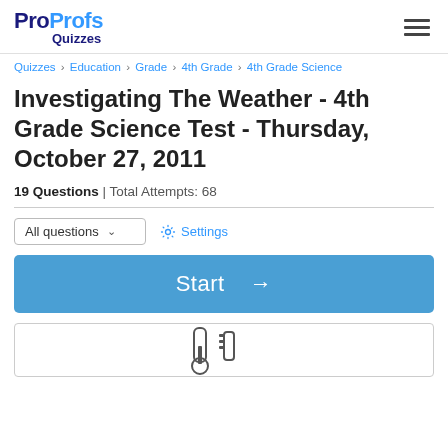ProProfs Quizzes
Quizzes > Education > Grade > 4th Grade > 4th Grade Science
Investigating The Weather - 4th Grade Science Test - Thursday, October 27, 2011
19 Questions | Total Attempts: 68
All questions   Settings
Start →
[Figure (illustration): Partial view of a thermometer or science instrument icon at the bottom of the page]